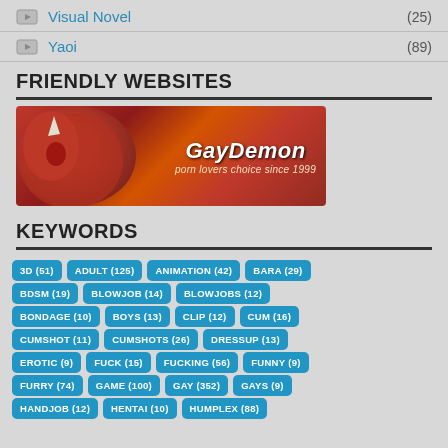Visual Novel (25)
Yaoi (89)
FRIENDLY WEBSITES
[Figure (illustration): GayDemon banner ad - red demon character on left, text 'GayDemon porn lovers choice since 1999' on right]
KEYWORDS
3D (51)
ADULT (125)
ANIMATION (42)
BARA (29)
BDSM (19)
BLOWJOB (14)
BLOWJOBS (12)
BONDAGE (10)
BOYS (13)
CLIP (12)
CUM (16)
CUMSHOT (11)
CUMSHOTS (26)
DRESSUP (13)
EROTIC (9)
FUCK (15)
FUCKING (56)
FUNNY (9)
FURRY (74)
GAME (100)
GAY (352)
GAYS (9)
HANDJOB (12)
HENTAI (10)
HUMPLEX (88)